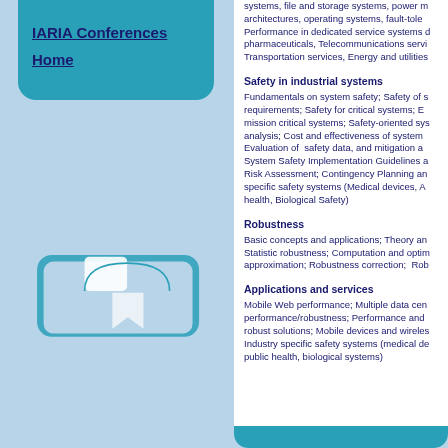[Figure (screenshot): Left navigation panel with teal/cyan background, rounded bottom corners, containing navigation links 'IARIA Conferences' and 'Home'. Decorative tab/folder shapes visible below nav box.]
systems, file and storage systems, power m architectures, operating systems, fault-tole Performance in dedicated service systems d pharmaceuticals, Telecommunications servi Transportation services, Energy and utilities
Safety in industrial systems
Fundamentals on system safety; Safety of s requirements; Safety for critical systems; E mission critical systems; Safety-oriented sy analysis; Cost and effectiveness of system Evaluation of safety data, and mitigation a System Safety Implementation Guidelines a Risk Assessment; Contingency Planning an specific safety systems (Medical devices, A health, Biological Safety)
Robustness
Basic concepts and applications; Theory an Statistic robustness; Computation and optin approximation; Robustness correction; Rob
Applications and services
Mobile Web performance; Multiple data cen performance/robustness; Performance and robust solutions; Mobile devices and wireles Industry specific safety systems (medical de public health, biological systems)